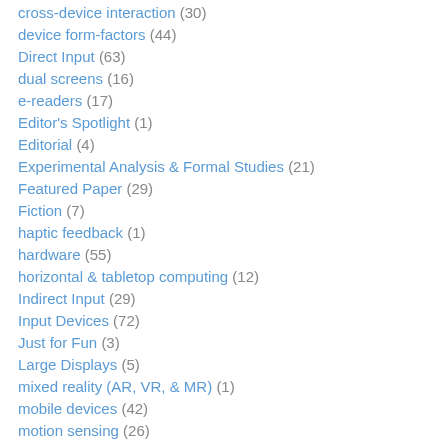cross-device interaction (30)
device form-factors (44)
Direct Input (63)
dual screens (16)
e-readers (17)
Editor's Spotlight (1)
Editorial (4)
Experimental Analysis & Formal Studies (21)
Featured Paper (29)
Fiction (7)
haptic feedback (1)
hardware (55)
horizontal & tabletop computing (12)
Indirect Input (29)
Input Devices (72)
Just for Fun (3)
Large Displays (5)
mixed reality (AR, VR, & MR) (1)
mobile devices (42)
motion sensing (26)